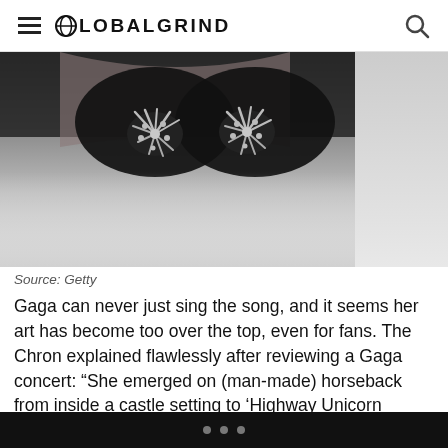GLOBALGRIND
[Figure (photo): Close-up photo of a performer wearing a spiked/studded black bra or costume piece against a dark background, fading to light grey at the bottom.]
Source: Getty
Gaga can never just sing the song, and it seems her art has become too over the top, even for fans. The Chron explained flawlessly after reviewing a Gaga concert: “She emerged on (man-made) horseback from inside a castle setting to ‘Highway Unicorn (Road to Love)’ and ‘Government Hooker.’ ‘Born This Way’ found her atop what looked like an inflatable turkey carcas, which ‘gave birth’ to her dancers.” A.K.A
• • •